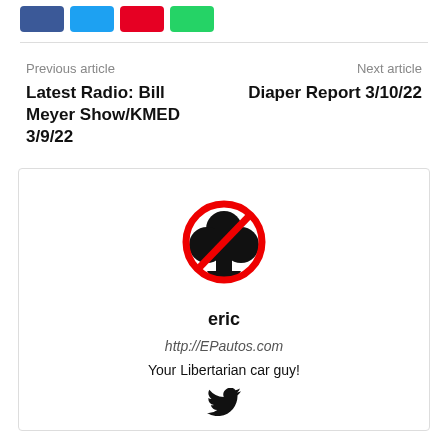[Figure (other): Social share buttons: Facebook (blue), Twitter (light blue), Pinterest (red), WhatsApp (green)]
Previous article
Next article
Latest Radio: Bill Meyer Show/KMED 3/9/22
Diaper Report 3/10/22
[Figure (logo): A black club/clover symbol inside a red prohibition circle (no-club sign)]
eric
http://EPautos.com
Your Libertarian car guy!
[Figure (logo): Twitter bird icon in black]